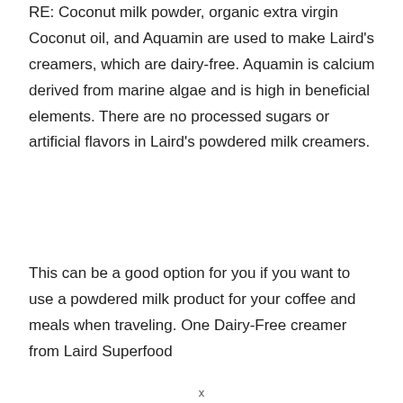RE: Coconut milk powder, organic extra virgin Coconut oil, and Aquamin are used to make Laird's creamers, which are dairy-free. Aquamin is calcium derived from marine algae and is high in beneficial elements. There are no processed sugars or artificial flavors in Laird's powdered milk creamers.
This can be a good option for you if you want to use a powdered milk product for your coffee and meals when traveling. One Dairy-Free creamer from Laird Superfood
x